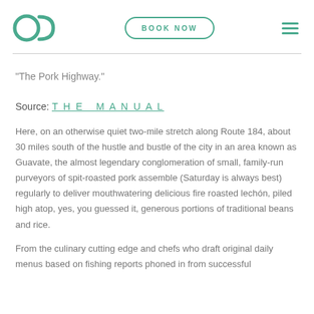OC | BOOK NOW | menu
"The Pork Highway."
Source: THE MANUAL
Here, on an otherwise quiet two-mile stretch along Route 184, about 30 miles south of the hustle and bustle of the city in an area known as Guavate, the almost legendary conglomeration of small, family-run purveyors of spit-roasted pork assemble (Saturday is always best) regularly to deliver mouthwatering delicious fire roasted lechón, piled high atop, yes, you guessed it, generous portions of traditional beans and rice.
From the culinary cutting edge and chefs who draft original daily menus based on fishing reports phoned in from successful